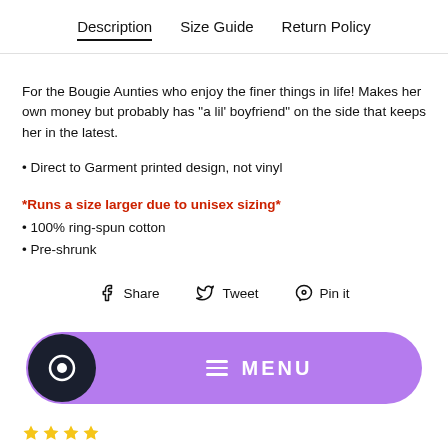Description | Size Guide | Return Policy
For the Bougie Aunties who enjoy the finer things in life! Makes her own money but probably has "a lil' boyfriend" on the side that keeps her in the latest.
• Direct to Garment printed design, not vinyl
*Runs a size larger due to unisex sizing*
• 100% ring-spun cotton
• Pre-shrunk
Share  Tweet  Pin it